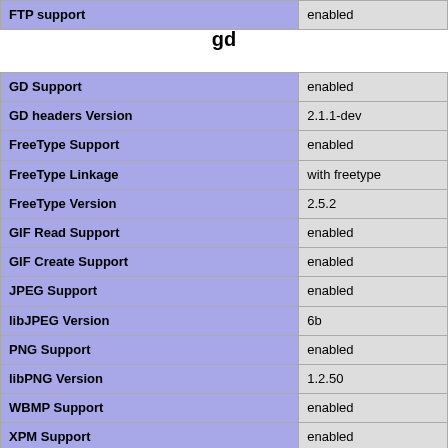| FTP support | enabled |
| --- | --- |
gd
| GD Support | enabled |
| --- | --- |
| GD headers Version | 2.1.1-dev |
| FreeType Support | enabled |
| FreeType Linkage | with freetype |
| FreeType Version | 2.5.2 |
| GIF Read Support | enabled |
| GIF Create Support | enabled |
| JPEG Support | enabled |
| libJPEG Version | 6b |
| PNG Support | enabled |
| libPNG Version | 1.2.50 |
| WBMP Support | enabled |
| XPM Support | enabled |
| libXpm Version | 30411 |
| XBM Support | enabled |
| WebP Support | enabled |